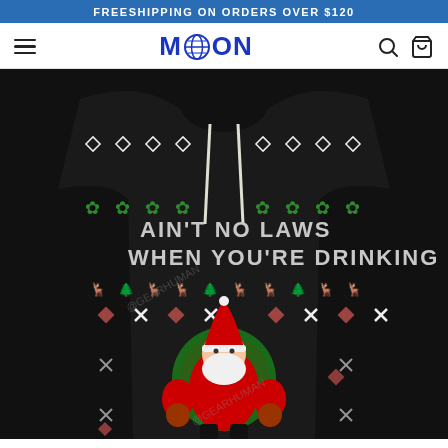FREESHIPPING ON ORDERS OVER $120
[Figure (logo): MOON store logo with globe icon in blue]
[Figure (photo): Christmas ugly sweater hoodie with Santa Claus and text 'AIN'T NO LAWS WHEN YOU'RE DRINKING' on black background with holiday patterns including reindeer, snowflakes, diamonds, and X marks]